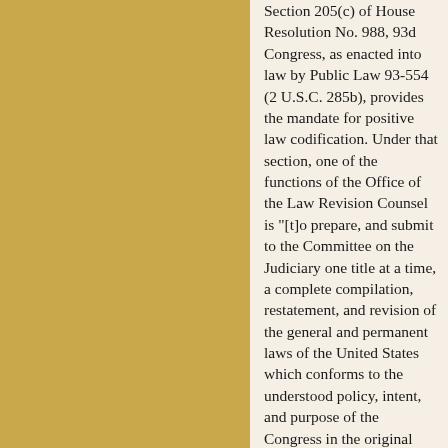[Figure (illustration): Gold/tan colored rectangular panel occupying the left portion of the page]
Section 205(c) of House Resolution No. 988, 93d Congress, as enacted into law by Public Law 93-554 (2 U.S.C. 285b), provides the mandate for positive law codification. Under that section, one of the functions of the Office of the Law Revision Counsel is "[t]o prepare, and submit to the Committee on the Judiciary one title at a time, a complete compilation, restatement, and revision of the general and permanent laws of the United States which conforms to the understood policy, intent, and purpose of the Congress in the original enactments, with such amendments and corrections as will remove ambiguities, contradictions, and other imperfections both of substance and of form, separately stated, with a